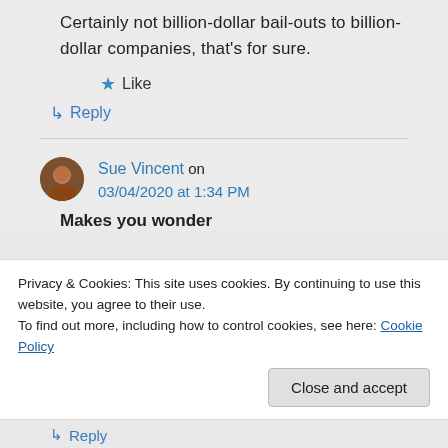Certainly not billion-dollar bail-outs to billion-dollar companies, that's for sure.
★ Like
↳ Reply
Sue Vincent on 03/04/2020 at 1:34 PM
Makes you wonder
Privacy & Cookies: This site uses cookies. By continuing to use this website, you agree to their use.
To find out more, including how to control cookies, see here: Cookie Policy
Close and accept
↳ Reply